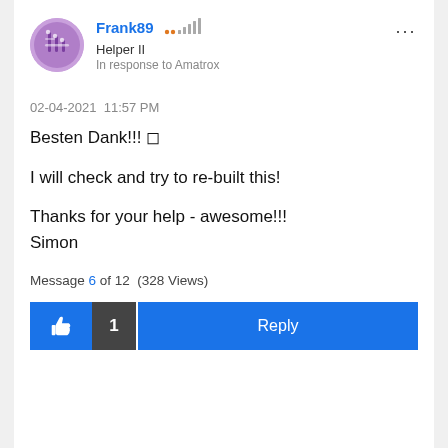[Figure (illustration): Purple circular avatar with circuit/person icon for user Frank89]
Frank89  Helper II  In response to Amatrox
02-04-2021  11:57 PM
Besten Dank!!! 🙂

I will check and try to re-built this!

Thanks for your help - awesome!!!
Simon
Message 6 of 12  (328 Views)
[Figure (screenshot): Action bar with thumbs-up like button, count badge showing 1, and Reply button]